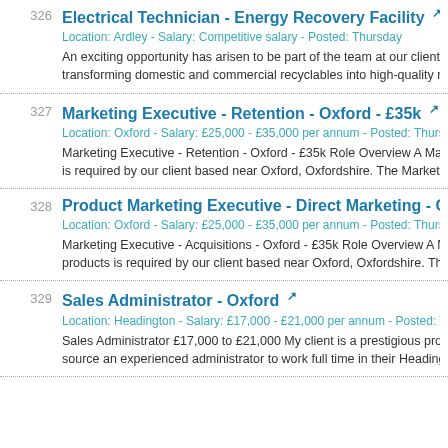326 Electrical Technician - Energy Recovery Facility
Location: Ardley - Salary: Competitive salary - Posted: Thursday
An exciting opportunity has arisen to be part of the team at our client's sta... transforming domestic and commercial recyclables into high-quality raw m...
327 Marketing Executive - Retention - Oxford - £35k
Location: Oxford - Salary: £25,000 - £35,000 per annum - Posted: Thursday
Marketing Executive - Retention - Oxford - £35k Role Overview A Marketin... is required by our client based near Oxford, Oxfordshire. The Marketing Ex...
328 Product Marketing Executive - Direct Marketing - Oxford - £3...
Location: Oxford - Salary: £25,000 - £35,000 per annum - Posted: Thursday
Marketing Executive - Acquisitions - Oxford - £35k Role Overview A Marke... products is required by our client based near Oxford, Oxfordshire. The Ma...
329 Sales Administrator - Oxford
Location: Headington - Salary: £17,000 - £21,000 per annum - Posted: Th...
Sales Administrator £17,000 to £21,000 My client is a prestigious property... source an experienced administrator to work full time in their Headington o...